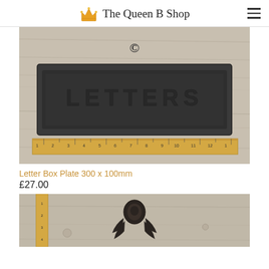The Queen B Shop
[Figure (photo): Photo of a cast iron letter box plate reading 'LETTERS' with a ruler below it, placed on a wooden surface. The letter box plate is 300 x 100mm. A copyright symbol is visible above the plate.]
Letter Box Plate 300 x 100mm
£27.00
[Figure (photo): Partial photo showing a decorative black cast iron door knocker or similar item, with a ruler visible on the left side, on a wooden surface.]